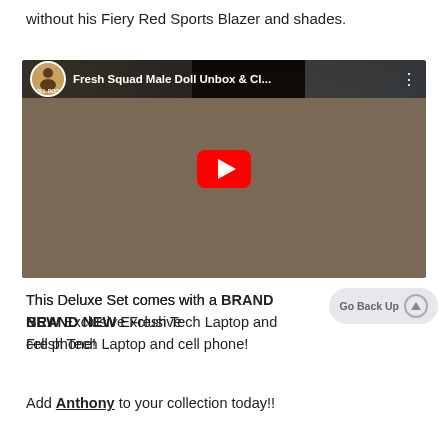without his Fiery Red Sports Blazer and shades.
[Figure (screenshot): YouTube video thumbnail showing 'Fresh Squad Male Doll Unbox & Cl...' with a channel logo (Ms. Tee Doll Room), a play button, and a scene of a person unboxing dolls with doll figures on the left and a doll shelf on the right.]
This Deluxe Set comes with a BRAND NEW Exclusive Fresh Tech Laptop and cell phone!
Add Anthony to your collection today!!